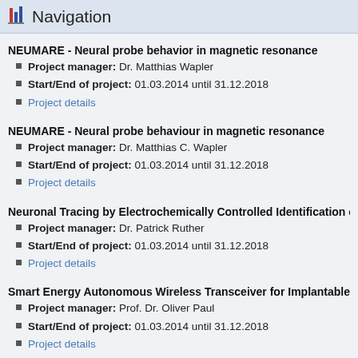Navigation
NEUMARE - Neural probe behavior in magnetic resonance
Project manager: Dr. Matthias Wapler
Start/End of project: 01.03.2014 until 31.12.2018
Project details
NEUMARE - Neural probe behaviour in magnetic resonance
Project manager: Dr. Matthias C. Wapler
Start/End of project: 01.03.2014 until 31.12.2018
Project details
Neuronal Tracing by Electrochemically Controlled Identification of T
Project manager: Dr. Patrick Ruther
Start/End of project: 01.03.2014 until 31.12.2018
Project details
Smart Energy Autonomous Wireless Transceiver for Implantable Ne
Project manager: Prof. Dr. Oliver Paul
Start/End of project: 01.03.2014 until 31.12.2018
Project details